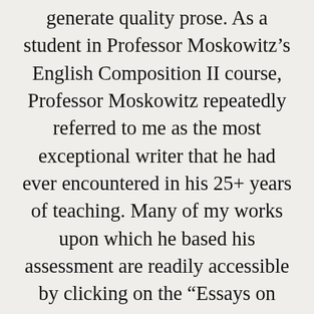generate quality prose. As a student in Professor Moskowitz’s English Composition II course, Professor Moskowitz repeatedly referred to me as the most exceptional writer that he had ever encountered in his 25+ years of teaching. Many of my works upon which he based his assessment are readily accessible by clicking on the “Essays on Social Phenomena” menu entry. Below is a picture of his written recommendation: